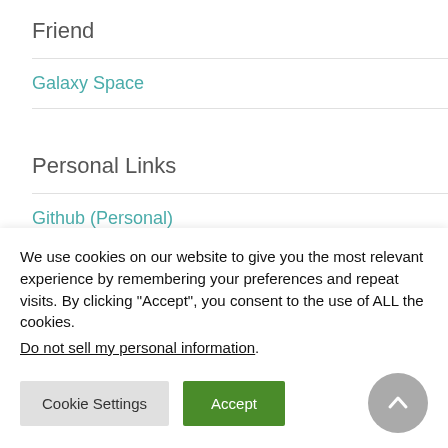Friend
Galaxy Space
Personal Links
Github (Personal)
We use cookies on our website to give you the most relevant experience by remembering your preferences and repeat visits. By clicking “Accept”, you consent to the use of ALL the cookies.
Do not sell my personal information.
Cookie Settings
Accept